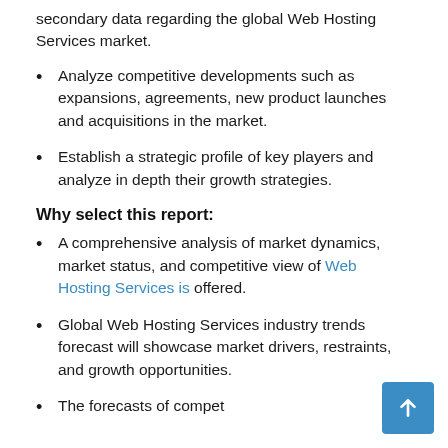secondary data regarding the global Web Hosting Services market.
Analyze competitive developments such as expansions, agreements, new product launches and acquisitions in the market.
Establish a strategic profile of key players and analyze in depth their growth strategies.
Why select this report:
A comprehensive analysis of market dynamics, market status, and competitive view of Web Hosting Services is offered.
Global Web Hosting Services industry trends forecast will showcase market drivers, restraints, and growth opportunities.
The forecasts of competing players on the market is...